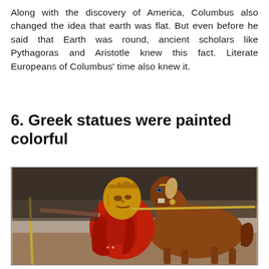Along with the discovery of America, Columbus also changed the idea that earth was flat. But even before he said that Earth was round, ancient scholars like Pythagoras and Aristotle knew this fact. Literate Europeans of Columbus' time also knew it.
6. Greek statues were painted colorful
[Figure (photo): A colorfully painted Greek or Roman statue scene depicting a warrior in a red cloak with a golden helmet/mask riding or standing beside a brown horse. The warrior holds a long spear/lance. The statue shows vivid colors including red, gold/yellow, and brown.]